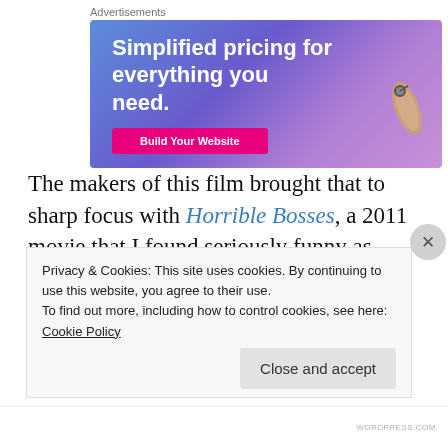Advertisements
[Figure (illustration): Advertisement banner with blue-purple gradient background, text 'Simplified pricing for everything you need.' with a pink button and a hand illustration on the right.]
The makers of this film brought that to sharp focus with Horrible Bosses, a 2011 movie that I found seriously funny as three Joe Schmoes with psychotic employers plot to
Privacy & Cookies: This site uses cookies. By continuing to use this website, you agree to their use.
To find out more, including how to control cookies, see here: Cookie Policy
Close and accept